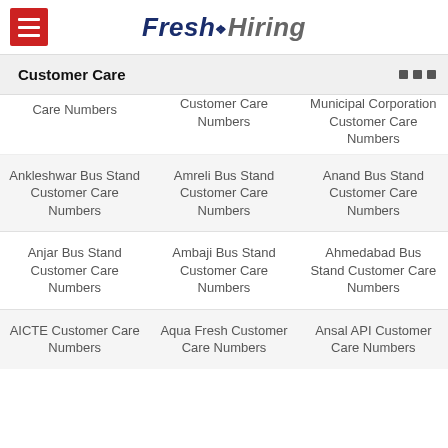Fresh Hiring
Customer Care
Care Numbers | Customer Care Numbers | Municipal Corporation Customer Care Numbers
Ankleshwar Bus Stand Customer Care Numbers
Amreli Bus Stand Customer Care Numbers
Anand Bus Stand Customer Care Numbers
Anjar Bus Stand Customer Care Numbers
Ambaji Bus Stand Customer Care Numbers
Ahmedabad Bus Stand Customer Care Numbers
AICTE Customer Care Numbers
Aqua Fresh Customer Care Numbers
Ansal API Customer Care Numbers